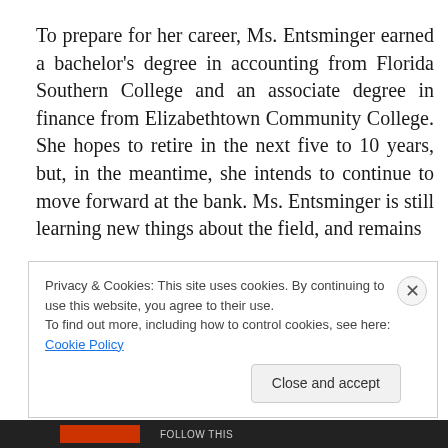To prepare for her career, Ms. Entsminger earned a bachelor's degree in accounting from Florida Southern College and an associate degree in finance from Elizabethtown Community College. She hopes to retire in the next five to 10 years, but, in the meantime, she intends to continue to move forward at the bank. Ms. Entsminger is still learning new things about the field, and remains
Privacy & Cookies: This site uses cookies. By continuing to use this website, you agree to their use.
To find out more, including how to control cookies, see here: Cookie Policy